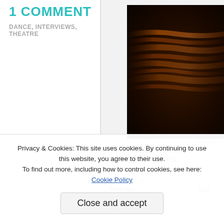1 COMMENT
DANCE, INTERVIEWS, THEATRE
[Figure (photo): Dark abstract image with orange/amber flowing texture against a dark background]
Image: W
It's Monday morning.
This tie... ion er
Privacy & Cookies: This site uses cookies. By continuing to use this website, you agree to their use. To find out more, including how to control cookies, see here: Cookie Policy
Close and accept